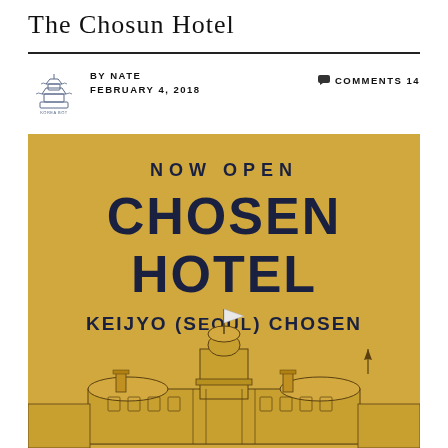The Chosun Hotel
BY NATE   FEBRUARY 4, 2018   COMMENTS 14
[Figure (illustration): Vintage advertisement poster for Chosen Hotel, Keijyo (Seoul) Chosen. Yellow/gold background with large bold text 'NOW OPEN CHOSEN HOTEL KEIJYO (SEOUL) CHOSEN' and an architectural illustration of the hotel building below.]